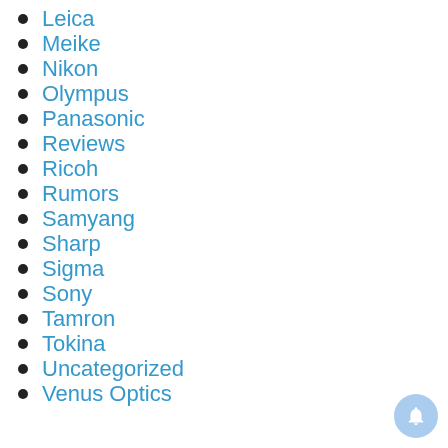Leica
Meike
Nikon
Olympus
Panasonic
Reviews
Ricoh
Rumors
Samyang
Sharp
Sigma
Sony
Tamron
Tokina
Uncategorized
Venus Optics